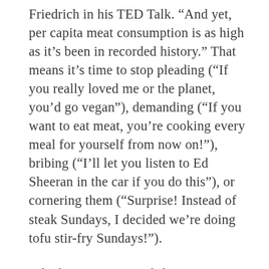Friedrich in his TED Talk. “And yet, per capita meat consumption is as high as it’s been in recorded history.” That means it’s time to stop pleading (“If you really loved me or the planet, you’d go vegan”), demanding (“If you want to eat meat, you’re cooking every meal for yourself from now on!”), bribing (“I’ll let you listen to Ed Sheeran in the car if you do this”), or cornering them (“Surprise! Instead of steak Sundays, I decided we’re doing tofu stir-fry Sundays!”).
Whether it’s your steak-loving